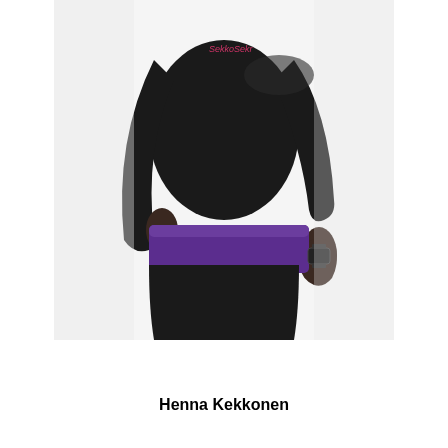[Figure (photo): A person photographed from the side/back, wearing a black long-sleeve athletic top with pink 'SekkoSekr' logo text, a purple waistband/skirt layer, black leggings, and a dark watch on the right wrist. The background is white/light grey. The image is cropped to show torso and hips.]
Henna Kekkonen